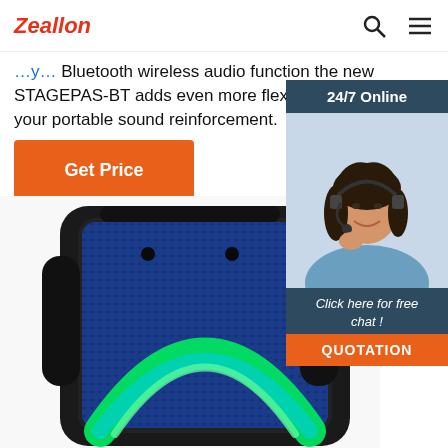Zeallon
Bluetooth wireless audio function the new STAGEPAS-BT adds even more flexibility to your portable sound reinforcement.
Get Price
[Figure (photo): 24/7 Online chat widget with woman wearing headset. Includes 'Click here for free chat!' and 'QUOTATION' button.]
[Figure (photo): Close-up of a blue Bluetooth portable speaker (STAGEPAS-BT) with colorful LED ring light (green/cyan arc) on front grille, black housing.]